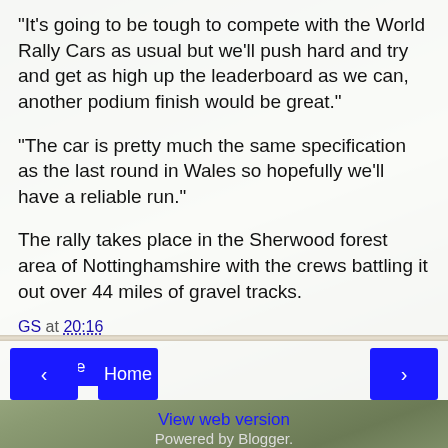“It’s going to be tough to compete with the World Rally Cars as usual but we’ll push hard and try and get as high up the leaderboard as we can, another podium finish would be great.”
“The car is pretty much the same specification as the last round in Wales so hopefully we’ll have a reliable run.”
The rally takes place in the Sherwood forest area of Nottinghamshire with the crews battling it out over 44 miles of gravel tracks.
GS at 20:16
Share
Home
View web version
Powered by Blogger.